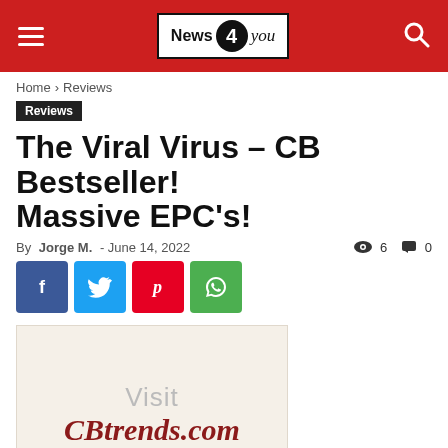News 4 you
Home › Reviews
Reviews
The Viral Virus – CB Bestseller! Massive EPC's!
By Jorge M. - June 14, 2022   6   0
[Figure (screenshot): Social share buttons: Facebook, Twitter, Pinterest, WhatsApp]
[Figure (other): Advertisement box with text: Visit CBtrends.com]